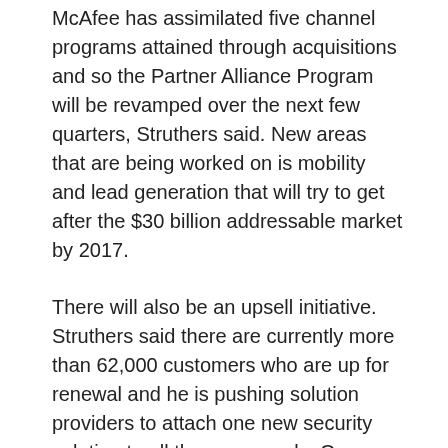McAfee has assimilated five channel programs attained through acquisitions and so the Partner Alliance Program will be revamped over the next few quarters, Struthers said. New areas that are being worked on is mobility and lead generation that will try to get after the $30 billion addressable market by 2017.
There will also be an upsell initiative. Struthers said there are currently more than 62,000 customers who are up for renewal and he is pushing solution providers to attach one new security solution to all those renewals. One example in the database market. Struthers said that there is a $30 billion market in Oracle and Microsoft databases. Since 90 per cent of all databases are compromised; database security monitoring is something that solution providers can